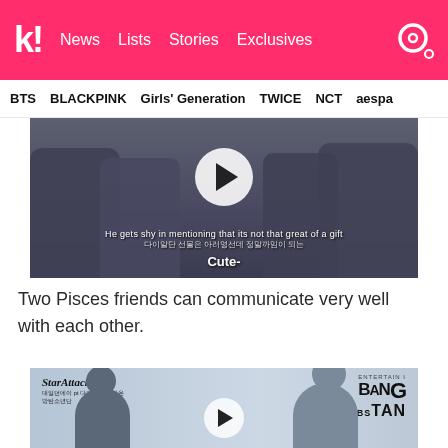k! News Lists Stories Exclusives
BTS BLACKPINK Girls' Generation TWICE NCT aespa
[Figure (screenshot): Video thumbnail showing BTS members in dark jackets outdoors with a play button overlay. Subtitle reads: He gets shy in mentioning that its not that great of a gift. Korean subtitle below. Text at bottom: Cute-]
Two Pisces friends can communicate very well with each other.
[Figure (screenshot): Video thumbnail showing Star Attack logo and BangTan Subs branding. Two people/silhouettes visible. Play button overlay.]